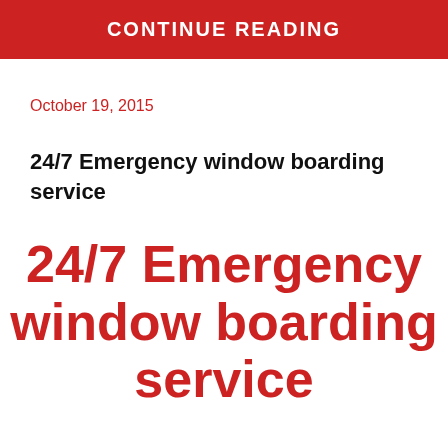CONTINUE READING
October 19, 2015
24/7 Emergency window boarding service
24/7 Emergency window boarding service